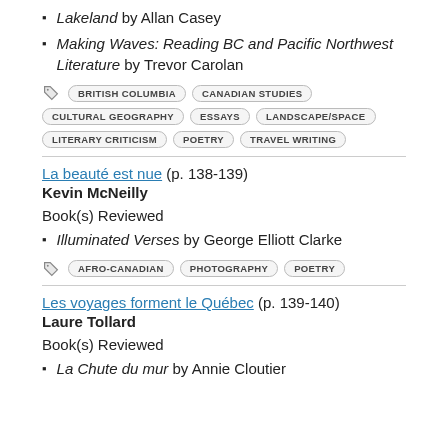Lakeland by Allan Casey
Making Waves: Reading BC and Pacific Northwest Literature by Trevor Carolan
BRITISH COLUMBIA  CANADIAN STUDIES  CULTURAL GEOGRAPHY  ESSAYS  LANDSCAPE/SPACE  LITERARY CRITICISM  POETRY  TRAVEL WRITING
La beauté est nue (p. 138-139)
Kevin McNeilly
Book(s) Reviewed
Illuminated Verses by George Elliott Clarke
AFRO-CANADIAN  PHOTOGRAPHY  POETRY
Les voyages forment le Québec (p. 139-140)
Laure Tollard
Book(s) Reviewed
La Chute du mur by Annie Cloutier